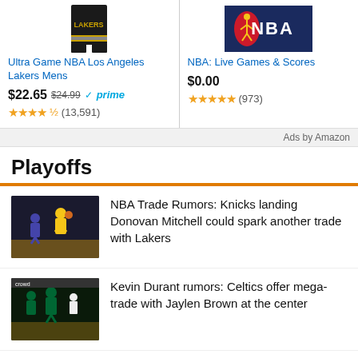[Figure (photo): Amazon ad card showing Lakers shorts apparel product]
Ultra Game NBA Los Angeles Lakers Mens
$22.65 $24.99 ✓prime
★★★★½ (13,591)
[Figure (logo): NBA logo on dark blue background]
NBA: Live Games & Scores
$0.00
★★★★★ (973)
Ads by Amazon
Playoffs
[Figure (photo): Basketball game photo showing player in yellow jersey shooting]
NBA Trade Rumors: Knicks landing Donovan Mitchell could spark another trade with Lakers
[Figure (photo): Basketball game photo showing players in green jerseys]
Kevin Durant rumors: Celtics offer mega-trade with Jaylen Brown at the center